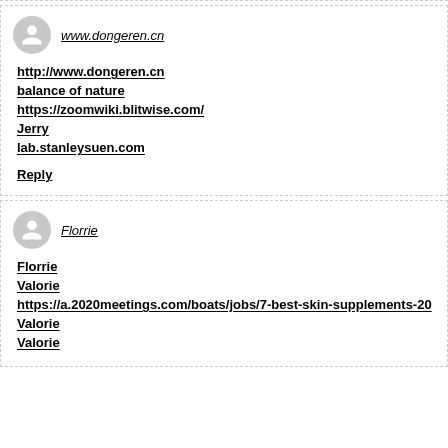www.dongeren.cn
http://www.dongeren.cn
balance of nature
https://zoomwiki.blitwise.com/
Jerry
lab.stanleysuen.com
Reply
Florrie
Florrie
Valorie
https://a.2020meetings.com/boats/jobs/7-best-skin-supplements-20
Valorie
Valorie